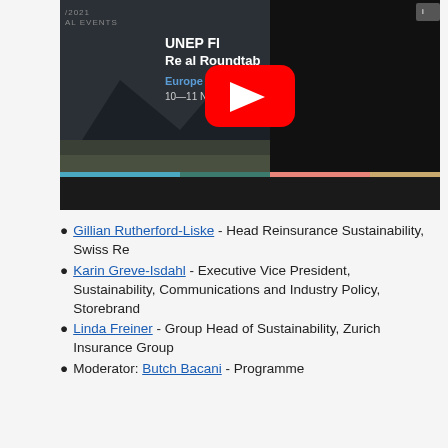[Figure (screenshot): YouTube video thumbnail for UNEP FI Regional Roundtable Europe, 10-11 November 2021, showing a landscape background with a YouTube play button overlay]
Gillian Rutherford-Liske - Head Reinsurance Sustainability, Swiss Re
Karin Greve-Isdahl - Executive Vice President, Sustainability, Communications and Industry Policy, Storebrand
Linda Freiner - Group Head of Sustainability, Zurich Insurance Group
Moderator: Butch Bacani - Programme